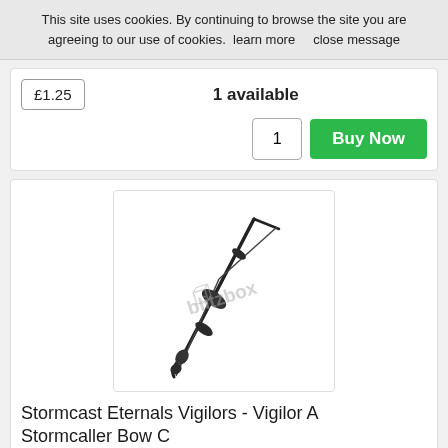This site uses cookies. By continuing to browse the site you are agreeing to our use of cookies.  learn more     close message
£1.25    1 available
1   Buy Now
[Figure (photo): Product image of a Stormcaller Bow crossbow miniature piece, black/dark colored, with a blitzbox watermark overlay]
Stormcast Eternals Vigilors - Vigilor A Stormcaller Bow C
£1.25    OUT OF STOCK